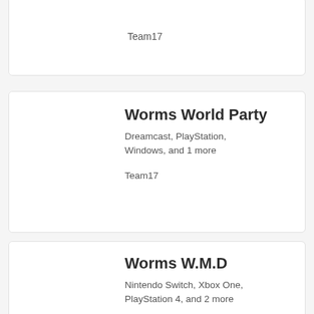Team17
Worms World Party
Dreamcast, PlayStation, Windows, and 1 more
Team17
Worms W.M.D
Nintendo Switch, Xbox One, PlayStation 4, and 2 more